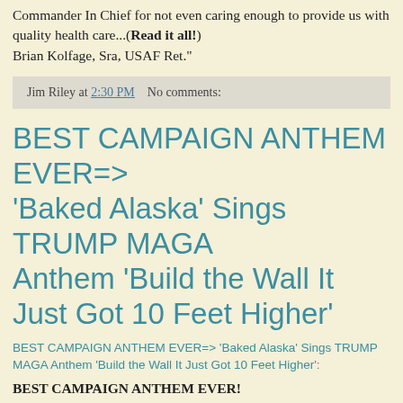Commander In Chief for not even caring enough to provide us with quality health care...(Read it all!) Brian Kolfage, Sra, USAF Ret."
Jim Riley at 2:30 PM    No comments:
BEST CAMPAIGN ANTHEM EVER=> 'Baked Alaska' Sings TRUMP MAGA Anthem 'Build the Wall It Just Got 10 Feet Higher'
BEST CAMPAIGN ANTHEM EVER=> 'Baked Alaska' Sings TRUMP MAGA Anthem 'Build the Wall It Just Got 10 Feet Higher':
BEST CAMPAIGN ANTHEM EVER!
Baked Alaska just released "Build the Wall – It Just Got 10 Feet Higher"